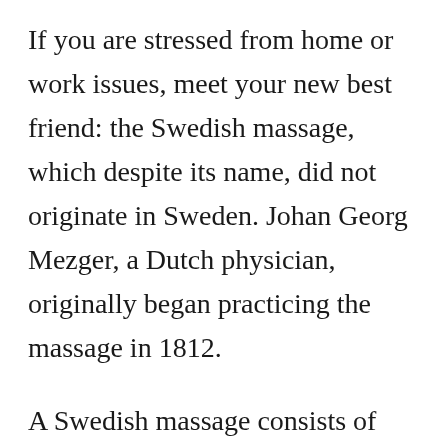If you are stressed from home or work issues, meet your new best friend: the Swedish massage, which despite its name, did not originate in Sweden. Johan Georg Mezger, a Dutch physician, originally began practicing the massage in 1812.
A Swedish massage consists of kneading and sliding movements, rubbing, vibration and percussion. Swedish massage works by lengthening and relaxing a patient's muscles. This